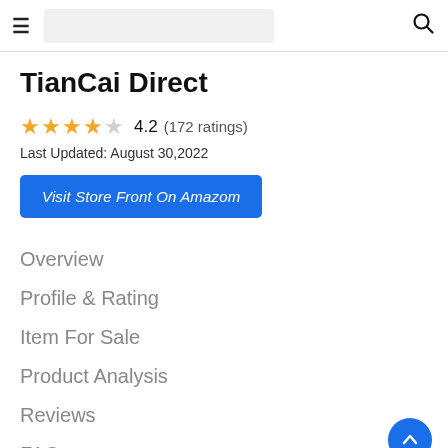TianCai Direct — navigation header with hamburger menu and search icon
TianCai Direct
⭐⭐⭐⭐☆ 4.2 (172 ratings)
Last Updated: August 30,2022
Visit Store Front On Amazom
Overview
Profile & Rating
Item For Sale
Product Analysis
Reviews
FAQs